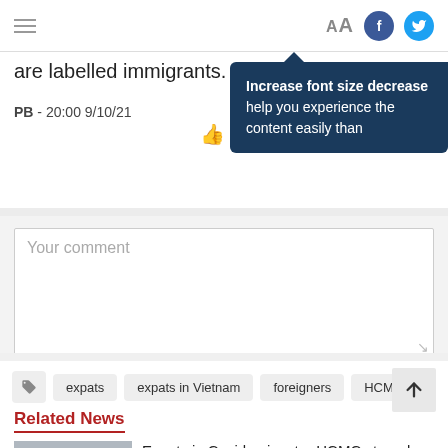AA [Facebook] [Twitter]
are labelled immigrants.
PB - 20:00 9/10/21
Increase font size decrease help you experience the content easily than
Your comment
Send
expats
expats in Vietnam
foreigners
HCMC
Related News
Expats in Covid epicenter HCMC struggle to order